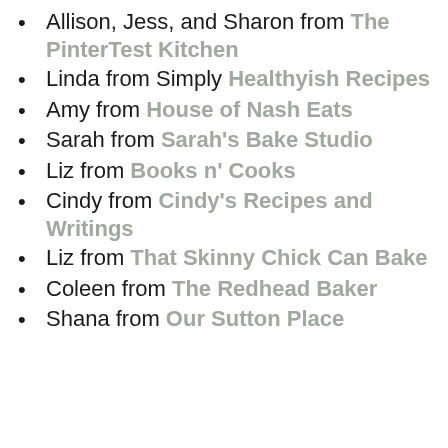Allison, Jess, and Sharon from The PinterTest Kitchen
Linda from Simply Healthyish Recipes
Amy from House of Nash Eats
Sarah from Sarah's Bake Studio
Liz from Books n' Cooks
Cindy from Cindy's Recipes and Writings
Liz from That Skinny Chick Can Bake
Coleen from The Redhead Baker
Shana from Our Sutton Place